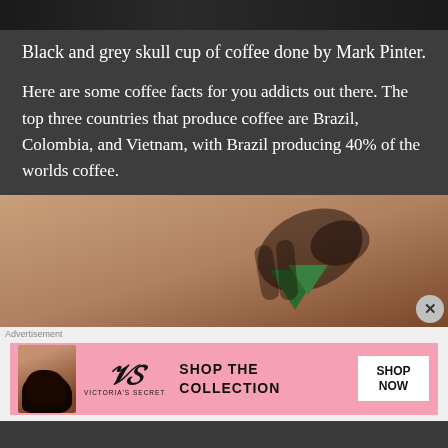[Figure (photo): Top portion of an image (cropped), dark background with partial figures visible]
Black and grey skull cup of coffee done by Mark Pinter.
Here are some coffee facts for you addicts out there. The top three countries that produce coffee are Brazil, Colombia, and Vietnam, with Brazil producing 40% of the worlds coffee.
[Figure (photo): Close-up photograph of a tattoo on skin, showing a colorful design with green and dark shadow elements on a warm brown skin tone]
Advertisement
[Figure (photo): Victoria's Secret advertisement banner with pink background, logo, 'SHOP THE COLLECTION' text, and 'SHOP NOW' button, alongside image of a woman]